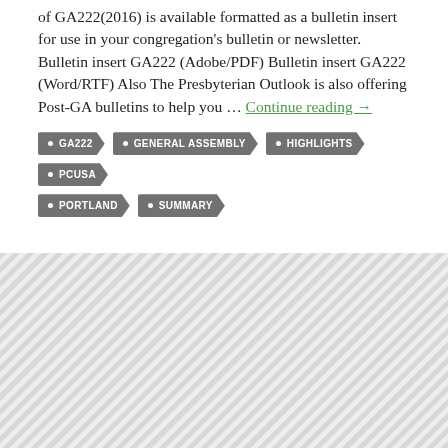of GA222(2016) is available formatted as a bulletin insert for use in your congregation's bulletin or newsletter. Bulletin insert GA222 (Adobe/PDF) Bulletin insert GA222 (Word/RTF) Also The Presbyterian Outlook is also offering Post-GA bulletins to help you … Continue reading →
GA222
GENERAL ASSEMBLY
HIGHLIGHTS
PCUSA
PORTLAND
SUMMARY
[Figure (other): Hatched/diagonal striped gray decorative background section at the bottom of the page]